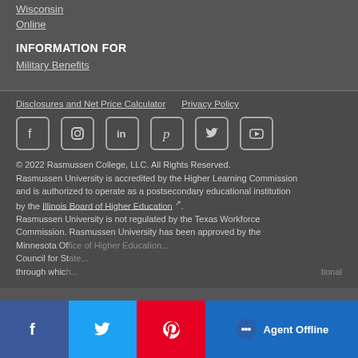Wisconsin
Online
INFORMATION FOR
Military Benefits
Disclosures and Net Price Calculator   Privacy Policy
[Figure (other): Social media icons: Facebook, Instagram, LinkedIn, Pinterest, Twitter, YouTube]
© 2022 Rasmussen College, LLC. All Rights Reserved. Rasmussen University is accredited by the Higher Learning Commission and is authorized to operate as a postsecondary educational institution by the Illinois Board of Higher Education. Rasmussen University is not regulated by the Texas Workforce Commission. Rasmussen University has been approved by the Minnesota Office of Higher Education... Council for State... through which... tional
[Figure (other): Overlay social share bar with Facebook, Twitter, Pinterest buttons and Agent Offline chat button]